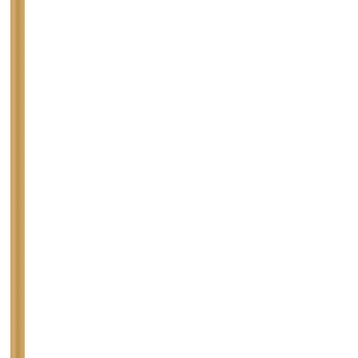Teacher sues Educa
: http://www.hera 1226579818092
Victorian have dec
I began teachin
It was in West M
I was the timeta
Its teachers wer
Its classes typic
The average tea by the use of re
The school was programs